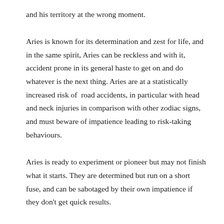and his territory at the wrong moment.
Aries is known for its determination and zest for life, and in the same spirit, Aries can be reckless and with it, accident prone in its general haste to get on and do whatever is the next thing. Aries are at a statistically increased risk of road accidents, in particular with head and neck injuries in comparison with other zodiac signs, and must beware of impatience leading to risk-taking behaviours.
Aries is ready to experiment or pioneer but may not finish what it starts. They are determined but run on a short fuse, and can be sabotaged by their own impatience if they don't get quick results.
Aries tends to...